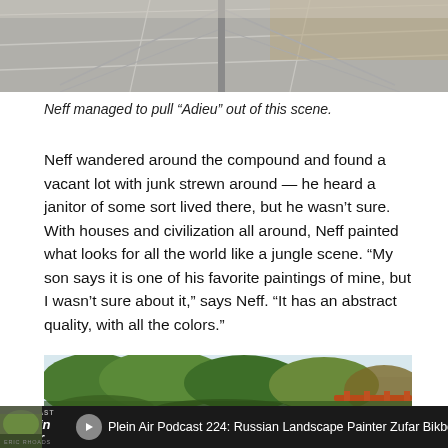[Figure (photo): Top portion of a photo showing a paved surface with metal fence posts and a dirt/gravel area in the background]
Neff managed to pull “Adieu” out of this scene.
Neff wandered around the compound and found a vacant lot with junk strewn around — he heard a janitor of some sort lived there, but he wasn’t sure. With houses and civilization all around, Neff painted what looks for all the world like a jungle scene. “My son says it is one of his favorite paintings of mine, but I wasn’t sure about it,” says Neff. “It has an abstract quality, with all the colors.”
[Figure (photo): Painting of a landscape with lush green trees, a sky, and what appears to be a red/orange bridge or structure in the lower right]
Plein Air Podcast 224: Russian Landscape Painter Zufar Bikbo